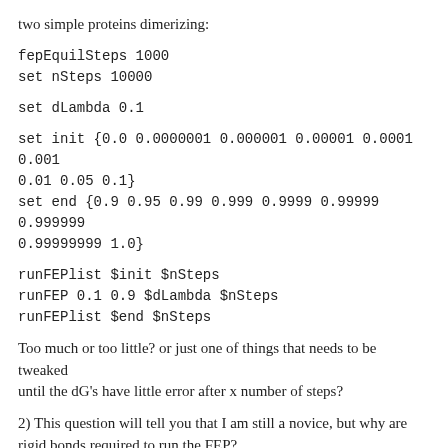two simple proteins dimerizing:
fepEquilSteps 1000
set nSteps 10000
set dLambda 0.1
set init {0.0 0.0000001 0.000001 0.00001 0.0001 0.001 0.01 0.05 0.1}
set end {0.9 0.95 0.99 0.999 0.9999 0.99999 0.999999 0.99999999 1.0}
runFEPlist $init $nSteps
runFEP 0.1 0.9 $dLambda $nSteps
runFEPlist $end $nSteps
Too much or too little? or just one of things that needs to be tweaked
until the dG's have little error after x number of steps?
2) This question will tell you that I am still a novice, but why are rigid bonds required to run the FEP?
Thank you very much for your help.
Chris